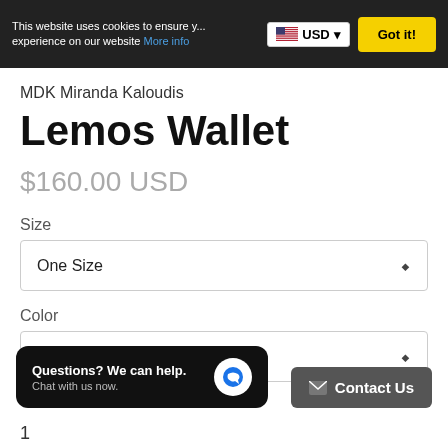This website uses cookies to ensure your experience on our website More info | USD | Got it!
MDK Miranda Kaloudis
Lemos Wallet
$160.00 USD
Size
One Size
Color
Avantgardener
Questions? We can help. Chat with us now.
Contact Us